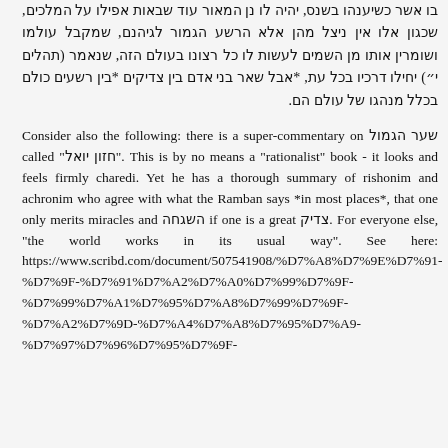בו אשר כשיענהו בשנס, יהיה לו נן המאור עוד שבאות אפילו על המלכים, שכגון אלו אין ניצל מהן אלא הרשע הגמור לגיהנם, שמקבל עולמו ושומרין אותו מן השמים לעשות לו כל רצונו בעולם הזה, שנאמר (תהלים י') יחילו דרכיו בכל עת, *אבל שאר בני אדם בין צדיקים *בין רשעים כולם בכלל מנהגו של עולם הם.
Consider also the following: there is a super-commentary on שער הגמול called "חזון יואל". This is by no means a "rationalist" book - it looks and feels firmly charedi. Yet he has a thorough summary of rishonim and achronim who agree with what the Ramban says *in most places*, that one only merits miracles and השגחה if one is a great צדיק. For everyone else, "the world works in its usual way". See here: https://www.scribd.com/document/507541908/%D7%A8%D7%9E%D7%91-%D7%9F-%D7%91%D7%A2%D7%A0%D7%99%D7%9F-%D7%99%D7%A1%D7%95%D7%A8%D7%99%D7%9F-%D7%A2%D7%9D-%D7%A4%D7%A8%D7%95%D7%A9-%D7%97%D7%96%D7%95%D7%9F-